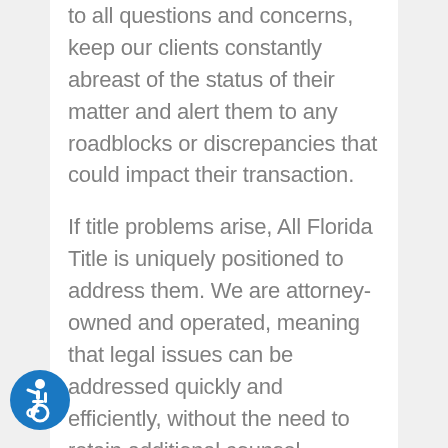to all questions and concerns, keep our clients constantly abreast of the status of their matter and alert them to any roadblocks or discrepancies that could impact their transaction.
If title problems arise, All Florida Title is uniquely positioned to address them. We are attorney-owned and operated, meaning that legal issues can be addressed quickly and efficiently, without the need to retain additional counsel. Attorney Marc Brown, owner of All Florida
[Figure (illustration): Accessibility icon: blue circle with white wheelchair user symbol]